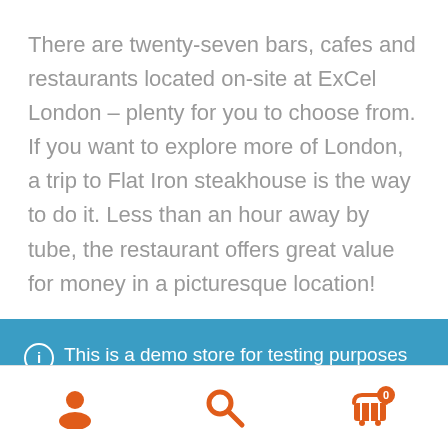There are twenty-seven bars, cafes and restaurants located on-site at ExCel London – plenty for you to choose from. If you want to explore more of London, a trip to Flat Iron steakhouse is the way to do it. Less than an hour away by tube, the restaurant offers great value for money in a picturesque location!
This is a demo store for testing purposes — no orders shall be fulfilled. Dismiss